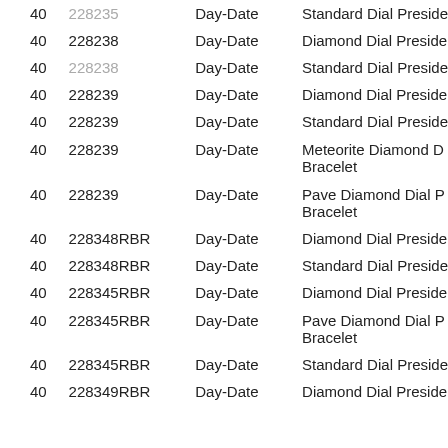|  | Reference | Model | Description |
| --- | --- | --- | --- |
| 40 | 228235 | Day-Date | Standard Dial Preside... |
| 40 | 228238 | Day-Date | Diamond Dial Preside... |
| 40 | 228238 | Day-Date | Standard Dial Preside... |
| 40 | 228239 | Day-Date | Diamond Dial Preside... |
| 40 | 228239 | Day-Date | Standard Dial Preside... |
| 40 | 228239 | Day-Date | Meteorite Diamond D... Bracelet |
| 40 | 228239 | Day-Date | Pave Diamond Dial P... Bracelet |
| 40 | 228348RBR | Day-Date | Diamond Dial Preside... |
| 40 | 228348RBR | Day-Date | Standard Dial Preside... |
| 40 | 228345RBR | Day-Date | Diamond Dial Preside... |
| 40 | 228345RBR | Day-Date | Pave Diamond Dial P... Bracelet |
| 40 | 228345RBR | Day-Date | Standard Dial Preside... |
| 40 | 228349RBR | Day-Date | Diamond Dial Preside... |